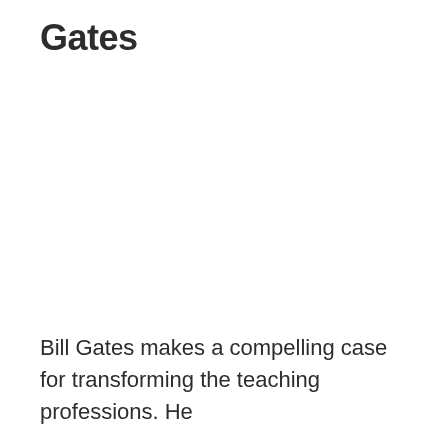Gates
Bill Gates makes a compelling case for transforming the teaching professions. He